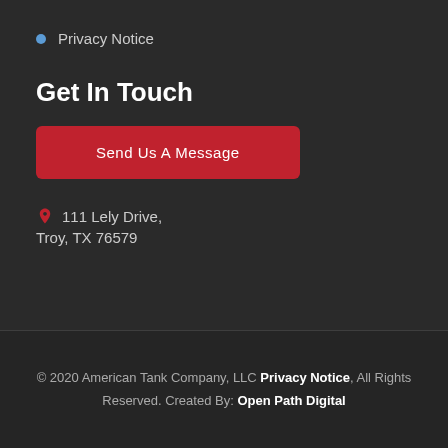Privacy Notice
Get In Touch
Send Us A Message
111 Lely Drive, Troy, TX 76579
© 2020 American Tank Company, LLC Privacy Notice, All Rights Reserved. Created By: Open Path Digital